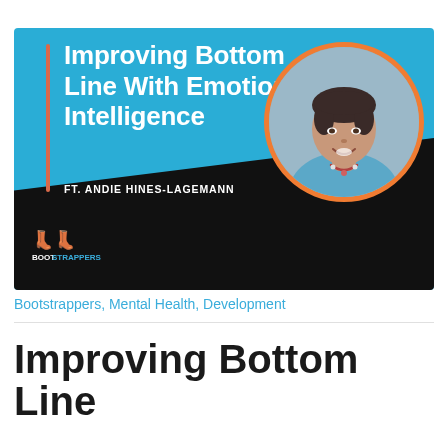[Figure (illustration): Podcast episode thumbnail banner with blue and black background. Large white bold text reads 'Improving Bottom Line With Emotional Intelligence'. Subtitle 'FT. ANDIE HINES-LAGEMANN'. Orange accent vertical line on left. Circular photo of a smiling woman with short dark hair on the right with an orange border. Bootstrappers logo at bottom left.]
Bootstrappers, Mental Health, Development
Improving Bottom Line